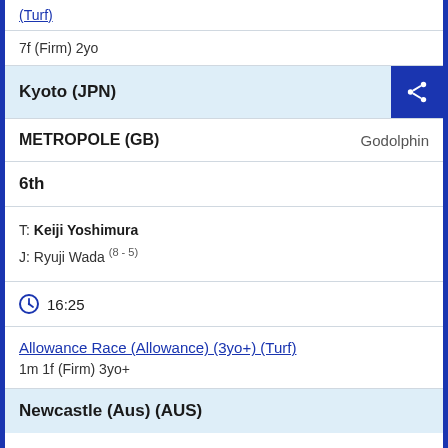(Turf)
7f (Firm) 2yo
Kyoto (JPN)
METROPOLE (GB)   Godolphin
6th
T: Keiji Yoshimura
J: Ryuji Wada (8 - 5)
16:25
Allowance Race (Allowance) (3yo+) (Turf)
1m 1f (Firm) 3yo+
Newcastle (Aus) (AUS)